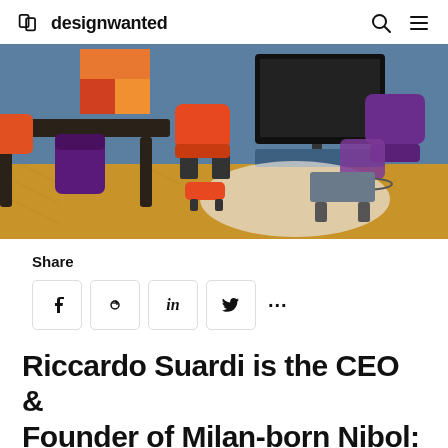designwanted
[Figure (photo): Interior design photo of a modern living/meeting space with colorful chairs — orange and purple chairs around a dark table, a TV on a blue wall, herringbone wood floor, and a round rug in the center.]
Share
f  p  in  bird  ...
Riccardo Suardi is the CEO & Founder of Milan-born Nibol: he talks